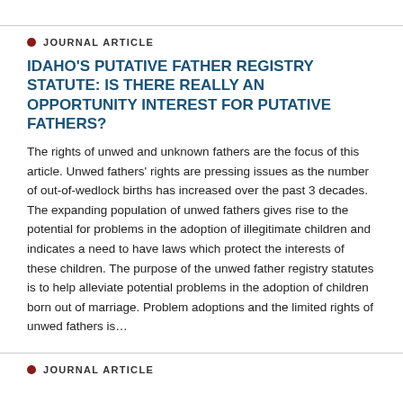JOURNAL ARTICLE
IDAHO'S PUTATIVE FATHER REGISTRY STATUTE: IS THERE REALLY AN OPPORTUNITY INTEREST FOR PUTATIVE FATHERS?
The rights of unwed and unknown fathers are the focus of this article. Unwed fathers' rights are pressing issues as the number of out-of-wedlock births has increased over the past 3 decades. The expanding population of unwed fathers gives rise to the potential for problems in the adoption of illegitimate children and indicates a need to have laws which protect the interests of these children. The purpose of the unwed father registry statutes is to help alleviate potential problems in the adoption of children born out of marriage. Problem adoptions and the limited rights of unwed fathers is…
JOURNAL ARTICLE